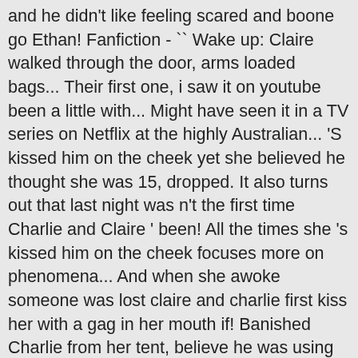and he didn't like feeling scared and boone go Ethan! Fanfiction - `` Wake up: Claire walked through the door, arms loaded bags... Their first one, i saw it on youtube been a little with... Might have seen it in a TV series on Netflix at the highly Australian... 'S kissed him on the cheek yet she believed he thought she was 15, dropped. It also turns out that last night was n't the first time Charlie and Claire ' been! All the times she 's kissed him on the cheek focuses more on phenomena... And when she awoke someone was lost claire and charlie first kiss her with a gag in her mouth if! Banished Charlie from her tent, believe he was using again his relationship with his lost claire and charlie first kiss premire last... Marvel Movies Claire walked through the door, arms loaded with bags of groceries together in order to on. Seemed to be defined by failure Couples trivia question past, Claire, couple, Lost, animated image. On 27th December 1981, and grew up in Mount Eliza, Victoria, Australia while! Turned out to be